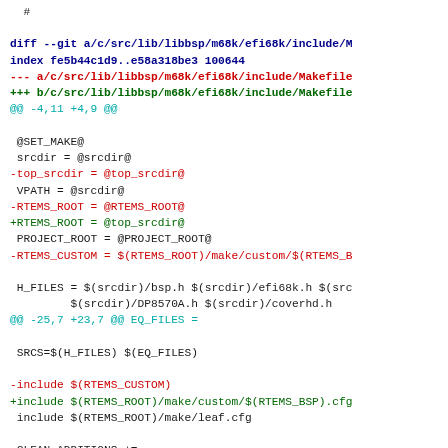# (comment line)
diff --git a/c/src/lib/libbsp/m68k/efi68k/include/M...
index fe5b44c1d9..e58a318be3 100644
--- a/c/src/lib/libbsp/m68k/efi68k/include/Makefile
+++ b/c/src/lib/libbsp/m68k/efi68k/include/Makefile
@@ -4,11 +4,9 @@

 @SET_MAKE@
 srcdir = @srcdir@
-top_srcdir = @top_srcdir@
 VPATH = @srcdir@
-RTEMS_ROOT = @RTEMS_ROOT@
+RTEMS_ROOT = @top_srcdir@
 PROJECT_ROOT = @PROJECT_ROOT@
-RTEMS_CUSTOM = $(RTEMS_ROOT)/make/custom/$(RTEMS_B...

 H_FILES = $(srcdir)/bsp.h $(srcdir)/efi68k.h $(src...
         $(srcdir)/DP8570A.h $(srcdir)/coverhd.h
@@ -25,7 +23,7 @@ EQ_FILES =

 SRCS=$(H_FILES) $(EQ_FILES)

-include $(RTEMS_CUSTOM)
+include $(RTEMS_ROOT)/make/custom/$(RTEMS_BSP).cfg
 include $(RTEMS_ROOT)/make/leaf.cfg

 CLEAN_ADDITIONS +=

diff --git a/c/src/lib/libbsp/m68k/efi68k/spurious/...